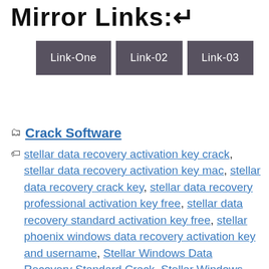Mirror Links:↵
[Figure (infographic): Three dark gray buttons labeled Link-One, Link-02, and Link-03 arranged horizontally]
Crack Software
stellar data recovery activation key crack, stellar data recovery activation key mac, stellar data recovery crack key, stellar data recovery professional activation key free, stellar data recovery standard activation key free, stellar phoenix windows data recovery activation key and username, Stellar Windows Data Recovery Standard Crack, Stellar Windows Data Recovery Standard Crack Activation Key, Stellar Windows Data